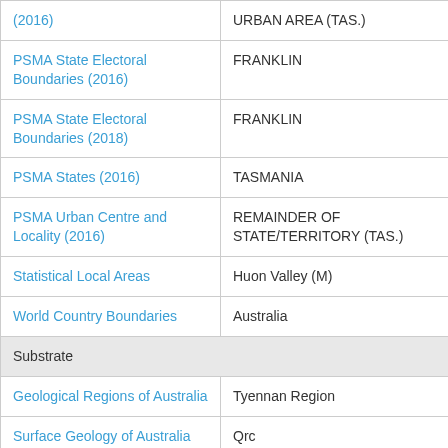| Layer | Value |
| --- | --- |
| (2016) | URBAN AREA (TAS.) |
| PSMA State Electoral Boundaries (2016) | FRANKLIN |
| PSMA State Electoral Boundaries (2018) | FRANKLIN |
| PSMA States (2016) | TASMANIA |
| PSMA Urban Centre and Locality (2016) | REMAINDER OF STATE/TERRITORY (TAS.) |
| Statistical Local Areas | Huon Valley (M) |
| World Country Boundaries | Australia |
| Substrate |  |
| Geological Regions of Australia | Tyennan Region |
| Surface Geology of Australia | Qrc |
| Topography |  |
| Physiographic Provinces of Australia | Tasmanian Uplands Province |